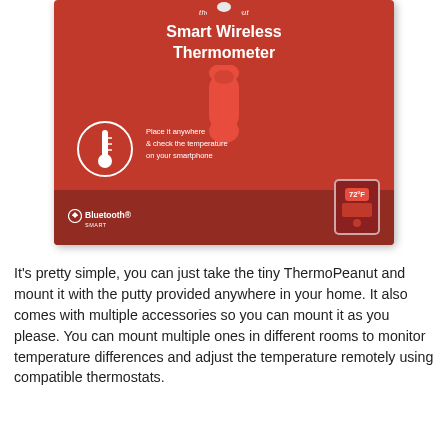[Figure (photo): Product photo of a red 'thermopeanut' Smart Wireless Thermometer box. The box is red with white text reading 'Smart Wireless Thermometer', shows a small red peanut-shaped device, a thermometer icon in a circle, text 'Place it anywhere & check the temperature on your smartphone', a smartphone mockup showing 72°F, and a Bluetooth Smart logo.]
It's pretty simple, you can just take the tiny ThermoPeanut and mount it with the putty provided anywhere in your home. It also comes with multiple accessories so you can mount it as you please. You can mount multiple ones in different rooms to monitor temperature differences and adjust the temperature remotely using compatible thermostats.